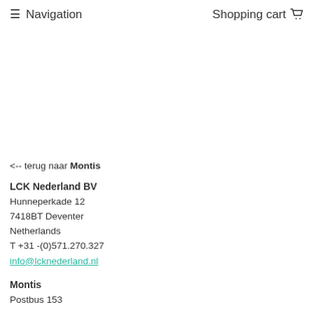≡ Navigation   Shopping cart 🛒
<-- terug naar Montis
LCK Nederland BV
Hunneperkade 12
7418BT Deventer
Netherlands
T +31 -(0)571.270.327
info@lcknederland.nl
Montis
Postbus 153